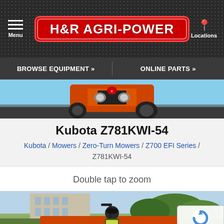H&R AGRI-POWER — Menu | Locations
BROWSE EQUIPMENT »   ONLINE PARTS »
[Figure (photo): Close-up photo of an orange Kubota tractor front grille and headlights]
Kubota Z781KWI-54
Kubota / Mowers / Zero-Turn Mowers / Z700 EFI Series / Z781KWI-54
Double tap to zoom
[Figure (photo): Photo of a person operating a Kubota zero-turn mower outdoors near a building with green trees in background. A reCAPTCHA privacy badge overlays the bottom right.]